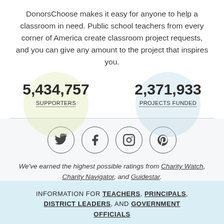DonorsChoose makes it easy for anyone to help a classroom in need. Public school teachers from every corner of America create classroom project requests, and you can give any amount to the project that inspires you.
5,434,757 SUPPORTERS
2,371,933 PROJECTS FUNDED
[Figure (infographic): Four social media icons in circles: Twitter, Facebook, Instagram, Pinterest]
We've earned the highest possible ratings from Charity Watch, Charity Navigator, and Guidestar.
INFORMATION FOR TEACHERS, PRINCIPALS, DISTRICT LEADERS, AND GOVERNMENT OFFICIALS